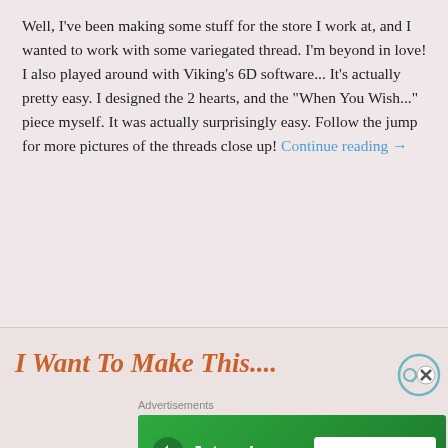Well, I've been making some stuff for the store I work at, and I wanted to work with some variegated thread. I'm beyond in love! I also played around with Viking's 6D software... It's actually pretty easy. I designed the 2 hearts, and the “When You Wish...” piece myself. It was actually surprisingly easy. Follow the jump for more pictures of the threads close up! Continue reading →
Share this:
[Figure (infographic): Facebook Share 0 button (blue), Twitter Tweet button (light blue), Pinterest Save button (red)]
Loading...
I Want To Make This....
Advertisements
[Figure (infographic): Jetpack advertisement banner with green background, Jetpack logo and text, and a white 'Back up your site' button]